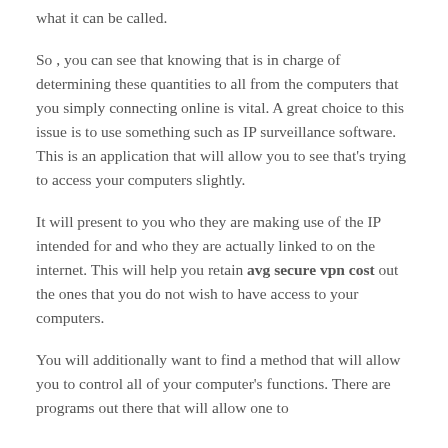what it can be called.
So , you can see that knowing that is in charge of determining these quantities to all from the computers that you simply connecting online is vital. A great choice to this issue is to use something such as IP surveillance software. This is an application that will allow you to see that’s trying to access your computers slightly.
It will present to you who they are making use of the IP intended for and who they are actually linked to on the internet. This will help you retain avg secure vpn cost out the ones that you do not wish to have access to your computers.
You will additionally want to find a method that will allow you to control all of your computer’s functions. There are programs out there that will allow one to